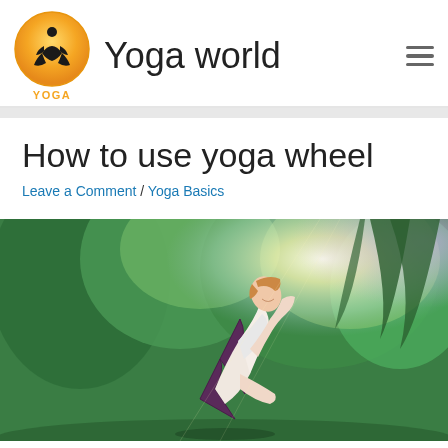[Figure (logo): Yoga world website header with circular orange gradient logo showing a meditating silhouette, site title 'Yoga world', orange 'YOGA' text label, and hamburger menu icon]
How to use yoga wheel
Leave a Comment / Yoga Basics
[Figure (photo): Woman performing a yoga backbend pose outdoors in a green park with sunlight flaring through trees in the background]